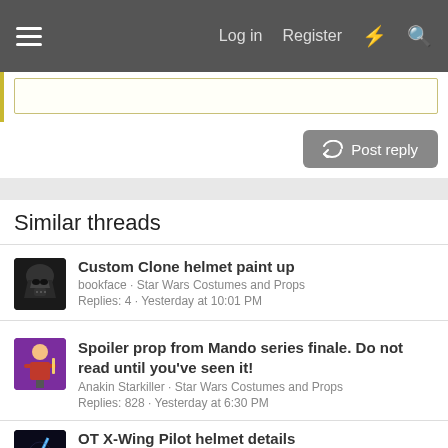Log in · Register
Similar threads
Custom Clone helmet paint up · bookface · Star Wars Costumes and Props · Replies: 4 · Yesterday at 10:01 PM
Spoiler prop from Mando series finale. Do not read until you've seen it! · Anakin Starkiller · Star Wars Costumes and Props · Replies: 828 · Yesterday at 6:30 PM
OT X-Wing Pilot helmet details · WarlockHCP · Star Wars Costumes and Props · Replies: 37 · Yesterday at 5:23 PM